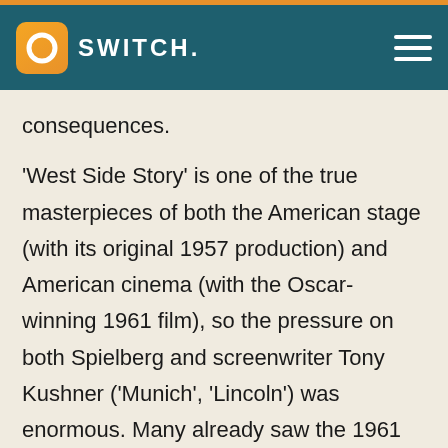SWITCH.
consequences.
'West Side Story' is one of the true masterpieces of both the American stage (with its original 1957 production) and American cinema (with the Oscar-winning 1961 film), so the pressure on both Spielberg and screenwriter Tony Kushner ('Munich', 'Lincoln') was enormous. Many already saw the 1961 film as the definitive screen adaptation, so any attempt to re-adapt the musical needed to